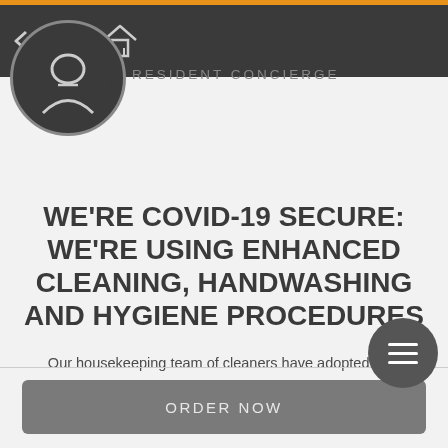RESIDENT CONCIERGE
WE'RE COVID-19 SECURE: WE'RE USING ENHANCED CLEANING, HANDWASHING AND HYGIENE PROCEDURES
Our housekeeping team of cleaners have adopted new industry guidelines to ensure this work is carried out safely and we have worked the relevant
ORDER NOW